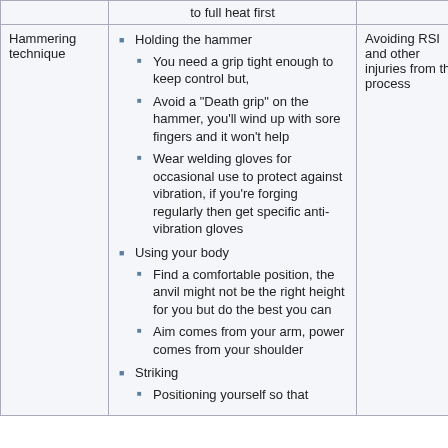|  | Content | Purpose |
| --- | --- | --- |
|  | to full heat first |  |
| Hammering technique | Holding the hammer
  You need a grip tight enough to keep control but,
  Avoid a "Death grip" on the hammer, you'll wind up with sore fingers and it won't help
  Wear welding gloves for occasional use to protect against vibration, if you're forging regularly then get specific anti-vibration gloves
Using your body
  Find a comfortable position, the anvil might not be the right height for you but do the best you can
  Aim comes from your arm, power comes from your shoulder
Striking
  Positioning yourself so that | Avoiding RSI and other injuries from the process |